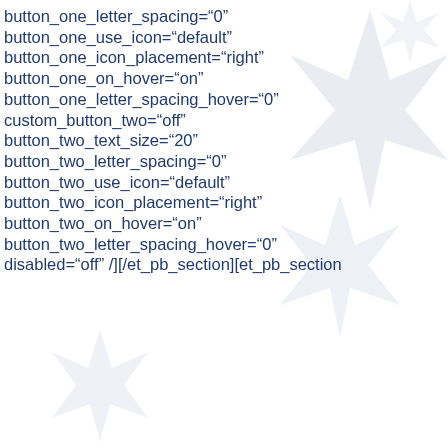button_one_letter_spacing="0"
button_one_use_icon="default"
button_one_icon_placement="right"
button_one_on_hover="on"
button_one_letter_spacing_hover="0"
custom_button_two="off"
button_two_text_size="20"
button_two_letter_spacing="0"
button_two_use_icon="default"
button_two_icon_placement="right"
button_two_on_hover="on"
button_two_letter_spacing_hover="0"
disabled="off" /][/et_pb_section][et_pb_section